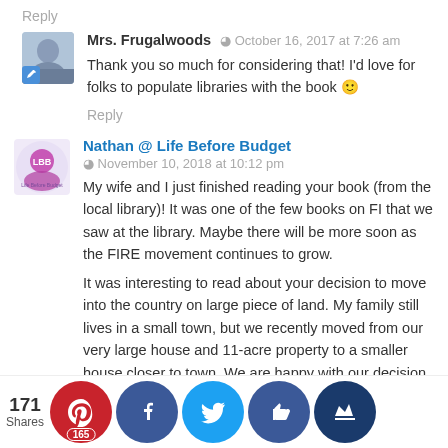Reply
Mrs. Frugalwoods  October 16, 2017 at 7:26 am
Thank you so much for considering that! I'd love for folks to populate libraries with the book 🙂
Reply
Nathan @ Life Before Budget
November 10, 2018 at 10:12 pm
My wife and I just finished reading your book (from the local library)! It was one of the few books on FI that we saw at the library. Maybe there will be more soon as the FIRE movement continues to grow.
It was interesting to read about your decision to move into the country on large piece of land. My family still lives in a small town, but we recently moved from our very large house and 11-acre property to a smaller house closer to town. We are happy with our decision, but we definitely miss the property (but not all the work that came with it). I wrote a bit about the decision on my o…
171 Shares